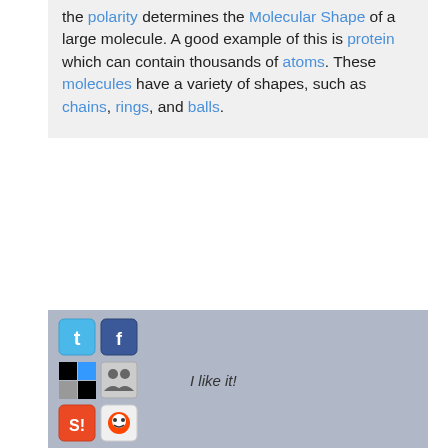the polarity determines the Molecular Shape of a large molecule. A good example of this is protein which can contain thousands of atoms. These molecules have a variety of shapes, such as chains, rings, and balls.
[Figure (infographic): Social sharing bar with Twitter, Facebook, Delicious, Digg, StumbleUpon, Reddit icons and 'I like it!' text]
(thing) by vuo Tue Dec 11 2001 at 12:19:33
Polar molecules form, when one atom has a stronger attraction to electrons